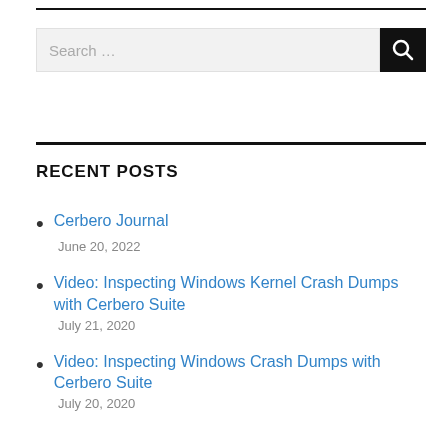[Figure (other): Search bar with text input field showing 'Search ...' placeholder and a black search button with magnifying glass icon]
RECENT POSTS
Cerbero Journal
June 20, 2022
Video: Inspecting Windows Kernel Crash Dumps with Cerbero Suite
July 21, 2020
Video: Inspecting Windows Crash Dumps with Cerbero Suite
July 20, 2020